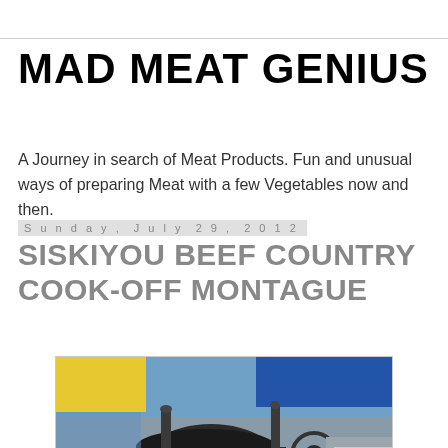MAD MEAT GENIUS
A Journey in search of Meat Products. Fun and unusual ways of preparing Meat with a few Vegetables now and then.
Sunday, July 29, 2012
SISKIYOU BEEF COUNTRY COOK-OFF MONTAGUE
[Figure (photo): Large black BBQ smoker on a yellow trailer at an outdoor event, with colorful tents in the background and a fire extinguisher visible on the trailer.]